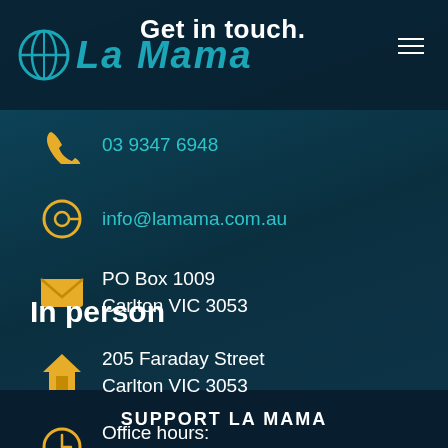Get in touch
03 9347 6948
info@lamama.com.au
PO Box 1009
Carlton VIC 3053
In person
205 Faraday Street
Carlton VIC 3053
Office hours:
Mon – Fri, 10:30am – 5:30pm
SUPPORT LA MAMA